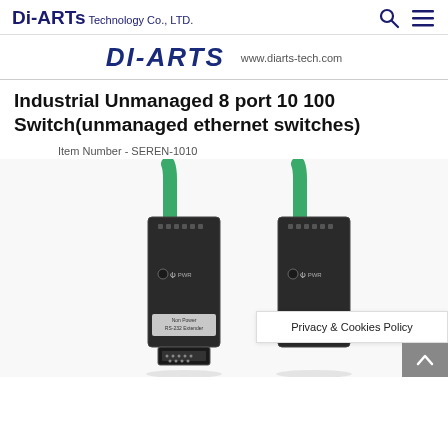Di-ARTs Technology Co., LTD.
[Figure (logo): Di-ARTS logo banner with website www.diarts-tech.com]
Industrial Unmanaged 8 port 10 100 Switch(unmanaged ethernet switches)
Item Number - SEREN-1010
[Figure (photo): Two black industrial RS-232 extender devices with green RJ45 cables connected, labeled 'Non Power RS-232 Extender']
Privacy & Cookies Policy